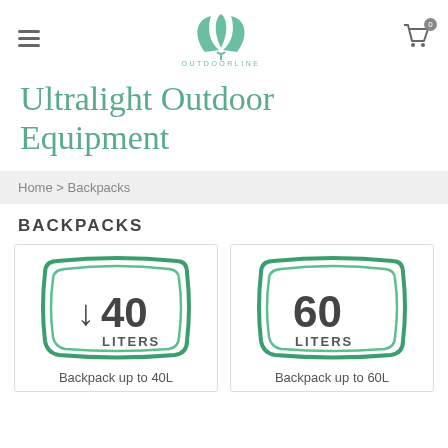OUTDOORLINE
Ultralight Outdoor Equipment
Home > Backpacks
BACKPACKS
[Figure (illustration): Product icon showing a rounded square border in green with a downward arrow and '40 LITERS' text inside]
Backpack up to 40L
[Figure (illustration): Product icon showing a rounded square border in green with '60 LITERS' text inside]
Backpack up to 60L